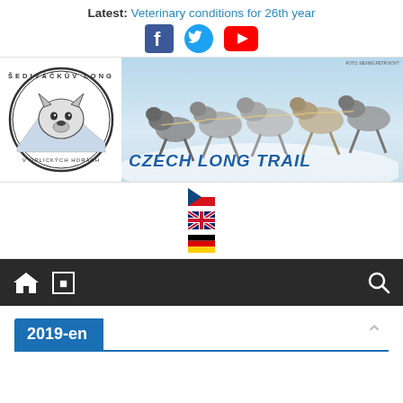Latest: Veterinary conditions for 26th year
[Figure (logo): Social media icons: Facebook (blue f), Twitter (blue bird), YouTube (red play button)]
[Figure (logo): Šediváčkův Long circular logo with dog silhouette and Czech mountains, plus Czech Long Trail banner with husky sled dogs running in snow]
[Figure (infographic): Czech flag icon]
[Figure (infographic): UK/British flag icon]
[Figure (infographic): German flag icon]
2019-en